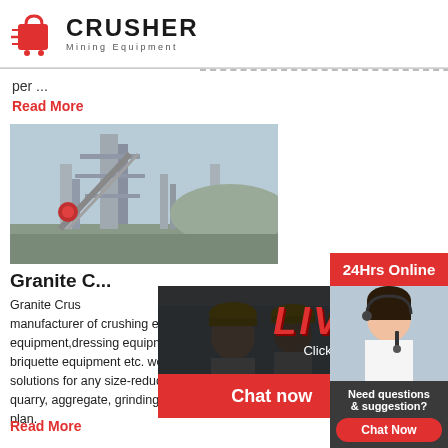[Figure (logo): Crusher Mining Equipment logo with red shopping bag icon and bold CRUSHER text]
per ...
Read More
[Figure (photo): Industrial crusher/mining facility with tall metal structure against blue sky]
Granite C...
Granite Crusher Companies In Madurai is a renowned manufacturer of crushing equipment, milling equipment,dressing equipment,drying equipment, briquette equipment etc. we offer advanced, rational solutions for any size-reduction requirements, including quarry, aggregate, grinding production and complete plan.
Read More
[Figure (photo): Live Chat popup with workers in yellow hard hats, LIVE CHAT title in red, Click for a Free Consultation, Chat now and Chat later buttons]
[Figure (photo): Right sidebar with 24Hrs Online banner, female customer service agent with headset, Need questions & suggestion, Chat Now button, Enquiry section, limingjlmofen@sina.com email]